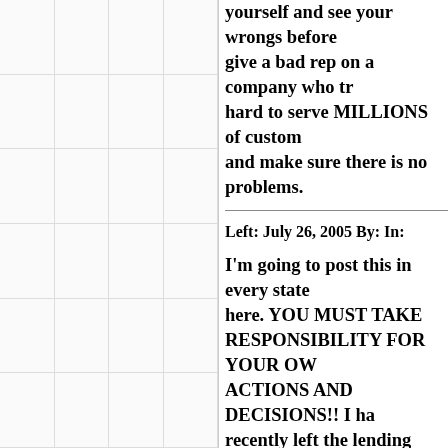yourself and see your wrongs before you give a bad rep on a company who tries hard to serve MILLIONS of customers and make sure there is no problems.
Left: July 26, 2005 By: In:
I'm going to post this in every state here. YOU MUST TAKE RESPONSIBILITY FOR YOUR OWN ACTIONS AND DECISIONS!! I have recently left the lending industry. I could site many reasons for this, however the top reason has to be dealing with borrowers and potential borrowers who had no concept of financial responsibility. Just because you have a 700 credit score does not mean you demonstrate good use of credit or that you are guaranteed the rate or terms you want. In fact, many people who have the best credit scores carry the most debt. What you people do not understand is that the lending institutions want you to carry debt. so if you carry alot of de...